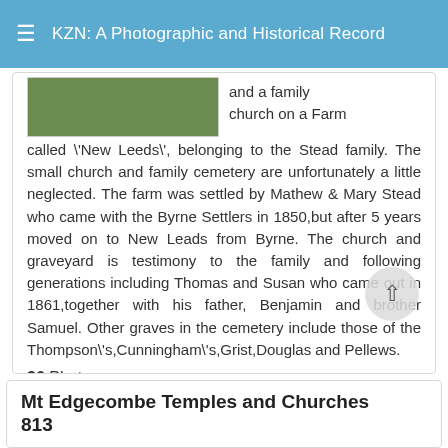KZN: A Photographic and Historical Record
[Figure (photo): Partial view of a green landscape/farm photo thumbnail]
and a family church on a Farm called \'New Leeds\', belonging to the Stead family. The small church and family cemetery are unfortunately a little neglected. The farm was settled by Mathew & Mary Stead who came with the Byrne Settlers in 1850,but after 5 years moved on to New Leads from Byrne. The church and graveyard is testimony to the family and following generations including Thomas and Susan who came out in 1861,together with his father, Benjamin and brother Samuel. Other graves in the cemetery include those of the Thompson\'s,Cunningham\'s,Grist,Douglas and Pellews.
36 Photos
Mt Edgecombe Temples and Churches 813